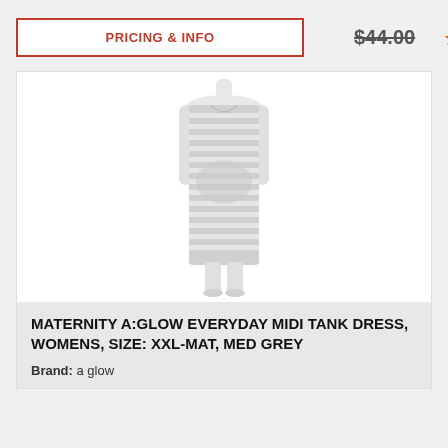PRICING & INFO
$44.00
[Figure (other): Five orange star rating icons]
[Figure (photo): A headless white mannequin wearing a grey and white horizontally striped sleeveless midi tank dress, maternity style with ruching on the side]
MATERNITY A:GLOW EVERYDAY MIDI TANK DRESS, WOMENS, SIZE: XXL-MAT, MED GREY
Brand: a glow